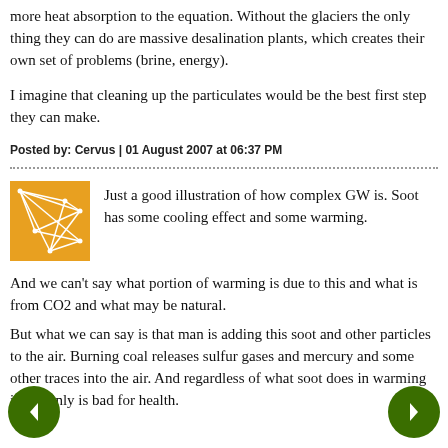more heat absorption to the equation. Without the glaciers the only thing they can do are massive desalination plants, which creates their own set of problems (brine, energy).
I imagine that cleaning up the particulates would be the best first step they can make.
Posted by: Cervus | 01 August 2007 at 06:37 PM
[Figure (illustration): Orange square avatar with white geometric lines forming a web-like network pattern]
Just a good illustration of how complex GW is. Soot has some cooling effect and some warming. And we can't say what portion of warming is due to this and what is from CO2 and what may be natural.
But what we can say is that man is adding this soot and other particles to the air. Burning coal releases sulfur gases and mercury and some other traces into the air. And regardless of what soot does in warming it certainly is bad for health.